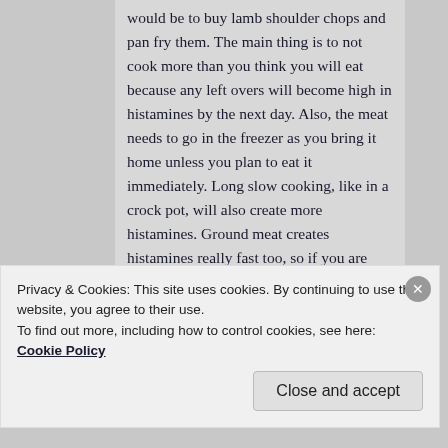would be to buy lamb shoulder chops and pan fry them. The main thing is to not cook more than you think you will eat because any left overs will become high in histamines by the next day. Also, the meat needs to go in the freezer as you bring it home unless you plan to eat it immediately. Long slow cooking, like in a crock pot, will also create more histamines. Ground meat creates histamines really fast too, so if you are buying meat from a fresh lamb, don't buy ground meat that has been sitting in the case. Have the butcher grind it for you fresh, and then get it in the
Privacy & Cookies: This site uses cookies. By continuing to use this website, you agree to their use.
To find out more, including how to control cookies, see here: Cookie Policy
Close and accept